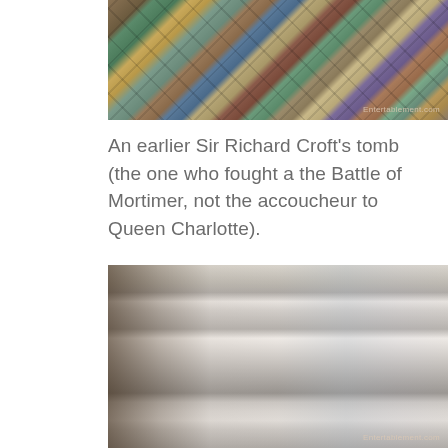[Figure (photo): Close-up photograph of decorative medieval floor tiles arranged in a diamond pattern, showing various heraldic and ornamental designs in colors of green, gold, brown, and blue. Watermark: Entertablement.com]
An earlier Sir Richard Croft's tomb (the one who fought a the Battle of Mortimer, not the accoucheur to Queen Charlotte).
[Figure (photo): Photograph of an ornate medieval stone tomb monument inside a church. The tomb features elaborate Gothic architectural canopy with pinnacles and decorative tracery, and a recumbent effigy of a knight lying on top of the tomb chest. The stonework is white/cream colored. Watermark: Entertablement.com]